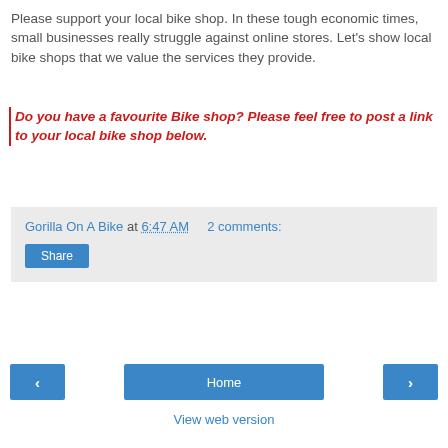Please support your local bike shop. In these tough economic times, small businesses really struggle against online stores. Let's show local bike shops that we value the services they provide.
Do you have a favourite Bike shop? Please feel free to post a link to your local bike shop below.
Gorilla On A Bike at 6:47 AM   2 comments:
Share
‹
Home
›
View web version